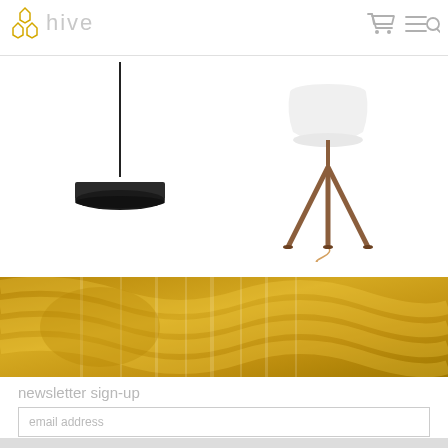[Figure (logo): Hive logo with honeycomb icon in gold/yellow and light gray text 'hive' in upper left]
[Figure (illustration): Navigation icons: shopping cart and menu/search icon in gray on upper right]
[Figure (photo): Black modern pendant lamp with thin rod and flat disc shade on left side of product area]
[Figure (photo): Floor lamp with white shade and wooden tripod legs on right side of product area]
[Figure (photo): Yellow/gold blurred background banner with wavy texture pattern]
newsletter sign-up
email address